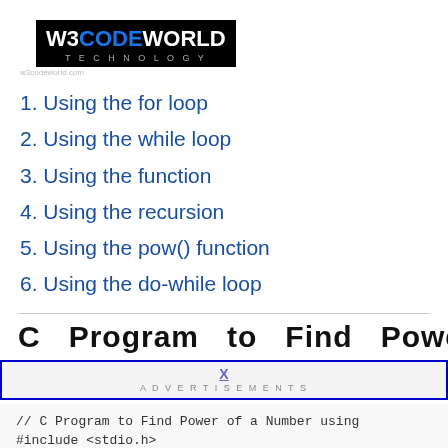[Figure (logo): W3CODEWORLD TECHNOLOGY logo, black background with blue and white text]
1. Using the for loop
2. Using the while loop
3. Using the function
4. Using the recursion
5. Using the pow() function
6. Using the do-while loop
C Program to Find Power of a
ADVERTISEMENTS
// C Program to Find Power of a Number using
#include <stdio.h>